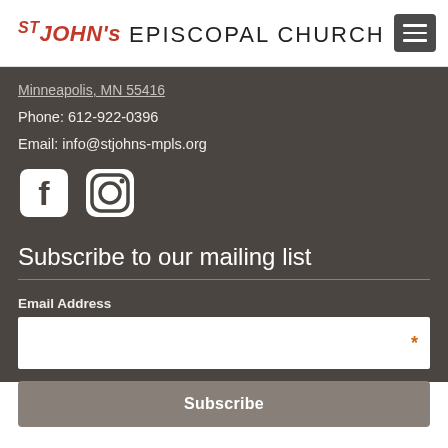ST JOHN's EPISCOPAL CHURCH
Minneapolis, MN 55416
Phone: 612-922-0396
Email: info@stjohns-mpls.org
[Figure (illustration): Facebook and Instagram social media icons]
Subscribe to our mailing list
Email Address
Subscribe button